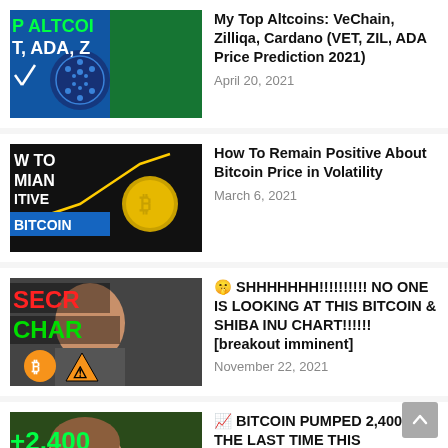[Figure (screenshot): Thumbnail for altcoins video showing text: P ALTCOI, T ADA Z in green, with Cardano logo]
My Top Altcoins: VeChain, Zilliqa, Cardano (VET, ZIL, ADA Price Prediction 2021)
April 20, 2021
[Figure (screenshot): Thumbnail showing: HOW TO REMAIN POSITIVE BITCOIN in white text on dark background with gold Bitcoin logo]
How To Remain Positive About Bitcoin Price in Volatility
March 6, 2021
[Figure (screenshot): Thumbnail showing: SECR CHAR in red/green text, Bitcoin logo and warning sign]
🤫 SHHHHHHH!!!!!!!!!! NO ONE IS LOOKING AT THIS BITCOIN & SHIBA INU CHART!!!!!! [breakout imminent]
November 22, 2021
[Figure (screenshot): Thumbnail showing +2,400 in green text, man with open mouth, bitcoin text at bottom]
📈 BITCOIN PUMPED 2,400% THE LAST TIME THIS HAPPENED & IT'S HAPPENING AGAIN RIGHT NOW!!!!!!!!!
August 27, 2021